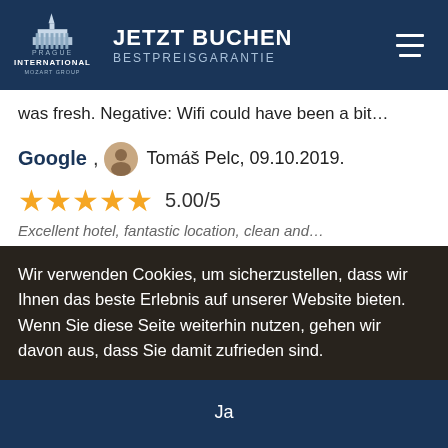JETZT BUCHEN BESTPREISGARANTIE
was fresh. Negative: Wifi could have been a bit...
Google, Tomáš Pelc, 09.10.2019.
5.00/5
Wir verwenden Cookies, um sicherzustellen, dass wir Ihnen das beste Erlebnis auf unserer Website bieten. Wenn Sie diese Seite weiterhin nutzen, gehen wir davon aus, dass Sie damit zufrieden sind.
Ja
Nein
Cookie richtlinien